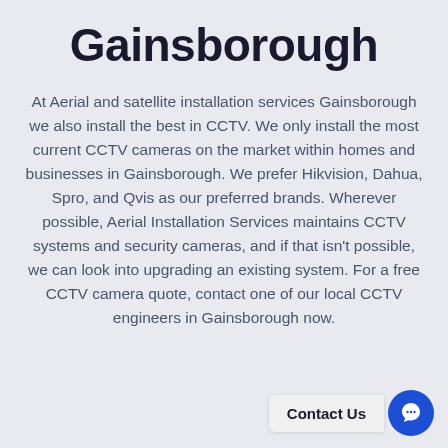Gainsborough
At Aerial and satellite installation services Gainsborough we also install the best in CCTV. We only install the most current CCTV cameras on the market within homes and businesses in Gainsborough. We prefer Hikvision, Dahua, Spro, and Qvis as our preferred brands. Wherever possible, Aerial Installation Services maintains CCTV systems and security cameras, and if that isn't possible, we can look into upgrading an existing system. For a free CCTV camera quote, contact one of our local CCTV engineers in Gainsborough now.
Contact Us